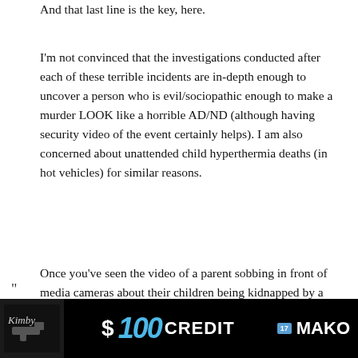And that last line is the key, here.
I'm not convinced that the investigations conducted after each of these terrible incidents are in-depth enough to uncover a person who is evil/sociopathic enough to make a murder LOOK like a horrible AD/ND (although having security video of the event certainly helps). I am also concerned about unattended child hyperthermia deaths (in hot vehicles) for similar reasons.
Once you've seen the video of a parent sobbing in front of media cameras about their children being kidnapped by a carjacker, pleading for their safe return, only to later find out that the same parent killed the children by strapping the vehicle into
[Figure (other): Advertisement banner: dark background with a logo on the left (cursive script over a gun image) and text '$100 CREDIT' in large stylized font with a blue '17MAKO' badge and brand name]